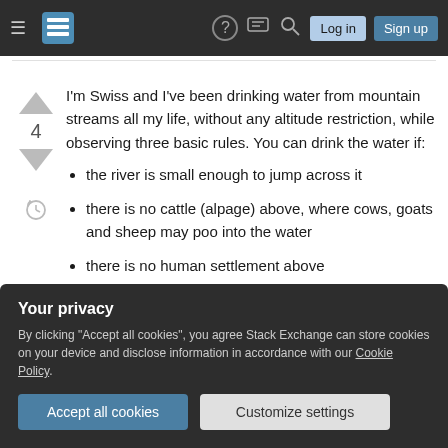[Navigation bar with logo, help, chat, search, Log in, Sign up]
I'm Swiss and I've been drinking water from mountain streams all my life, without any altitude restriction, while observing three basic rules. You can drink the water if:
the river is small enough to jump across it
there is no cattle (alpage) above, where cows, goats and sheep may poo into the water
there is no human settlement above
Your privacy
By clicking "Accept all cookies", you agree Stack Exchange can store cookies on your device and disclose information in accordance with our Cookie Policy.
Accept all cookies  Customize settings